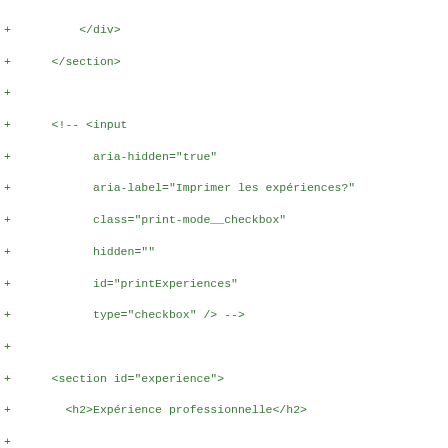Code diff showing HTML structure with sections, input elements, and experience section markup